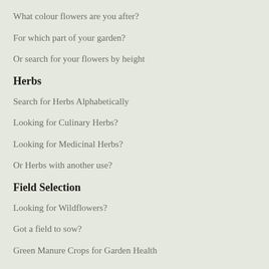What colour flowers are you after?
For which part of your garden?
Or search for your flowers by height
Herbs
Search for Herbs Alphabetically
Looking for Culinary Herbs?
Looking for Medicinal Herbs?
Or Herbs with another use?
Field Selection
Looking for Wildflowers?
Got a field to sow?
Green Manure Crops for Garden Health